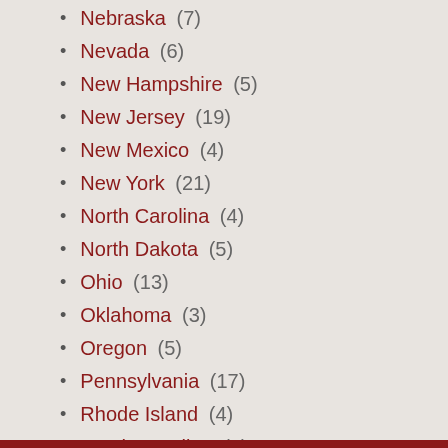Nebraska (7)
Nevada (6)
New Hampshire (5)
New Jersey (19)
New Mexico (4)
New York (21)
North Carolina (4)
North Dakota (5)
Ohio (13)
Oklahoma (3)
Oregon (5)
Pennsylvania (17)
Rhode Island (4)
South Carolina (8)
South Dakota (4)
Tennessee (10)
Texas (21)
Utah (8)
Vancouver (1)
Vermont (2)